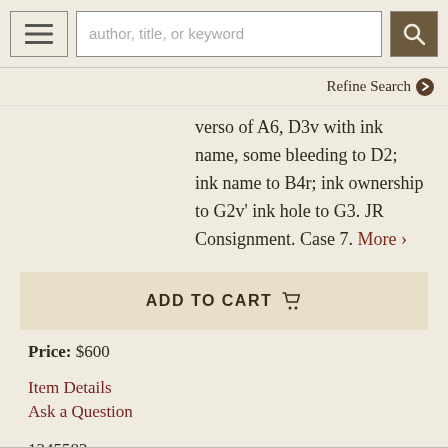[Figure (screenshot): Navigation bar with hamburger menu button, search box with placeholder 'author, title, or keyword', and a dark search button with magnifying glass icon]
Refine Search ›
verso of A6, D3v with ink name, some bleeding to D2; ink name to B4r; ink ownership to G2v' ink hole to G3. JR Consignment. Case 7. More ›
ADD TO CART 🛒
Price: $600
Item Details
Ask a Question
1345582
Shelved Dupont Bookstore